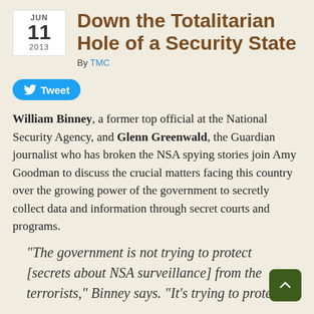JUN 11 2013
Down the Totalitarian Hole of a Security State
By TMC
[Figure (other): Tweet button with Twitter bird icon]
William Binney, a former top official at the National Security Agency, and Glenn Greenwald, the Guardian journalist who has broken the NSA spying stories join Amy Goodman to discuss the crucial matters facing this country over the growing power of the government to secretly collect data and information through secret courts and programs.
“The government is not trying to protect [secrets about NSA surveillance] from the terrorists,” Binney says. “It’s trying to protect